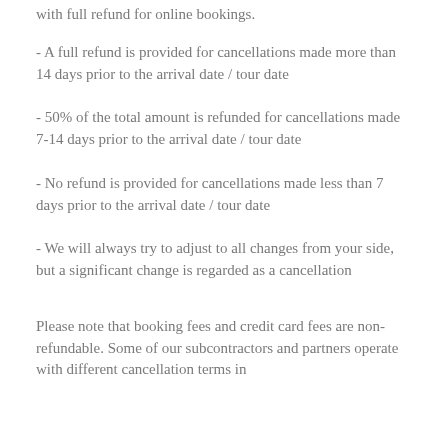with full refund for online bookings.
- A full refund is provided for cancellations made more than 14 days prior to the arrival date / tour date
- 50% of the total amount is refunded for cancellations made 7-14 days prior to the arrival date / tour date
- No refund is provided for cancellations made less than 7 days prior to the arrival date / tour date
- We will always try to adjust to all changes from your side, but a significant change is regarded as a cancellation
Please note that booking fees and credit card fees are non-refundable. Some of our subcontractors and partners operate with different cancellation terms in